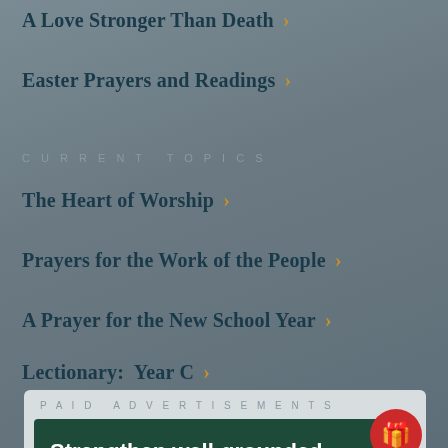A Love Stronger Than Death ›
Easter Prayers and Readings ›
CURRENT TOPICS
The Heart of Worship ›
Prayers for the Work of the People ›
A Prayer for the New School Year ›
Lectionary:  Year C ›
PAID ADVERTISEMENTS
Strengthen well-grounded